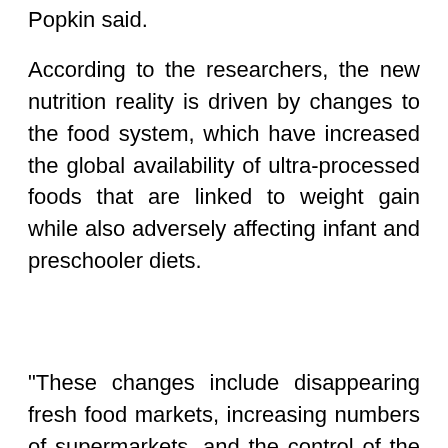Popkin said.
According to the researchers, the new nutrition reality is driven by changes to the food system, which have increased the global availability of ultra-processed foods that are linked to weight gain while also adversely affecting infant and preschooler diets.
"These changes include disappearing fresh food markets, increasing numbers of supermarkets, and the control of the food chain by supermarkets and global food, catering and agriculture companies in many